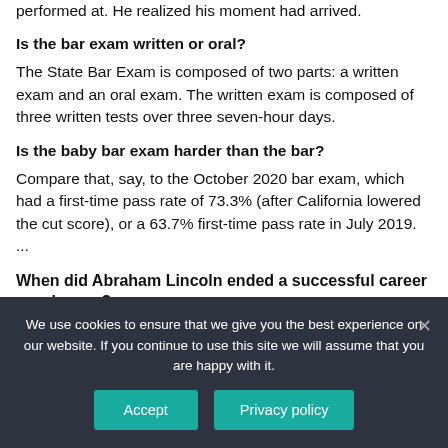performed at. He realized his moment had arrived.
Is the bar exam written or oral?
The State Bar Exam is composed of two parts: a written exam and an oral exam. The written exam is composed of three written tests over three seven-hour days.
Is the baby bar exam harder than the bar?
Compare that, say, to the October 2020 bar exam, which had a first-time pass rate of 73.3% (after California lowered the cut score), or a 63.7% first-time pass rate in July 2019. ...
When did Abraham Lincoln ended a successful career as a lawyer?
We use cookies to ensure that we give you the best experience on our website. If you continue to use this site we will assume that you are happy with it.